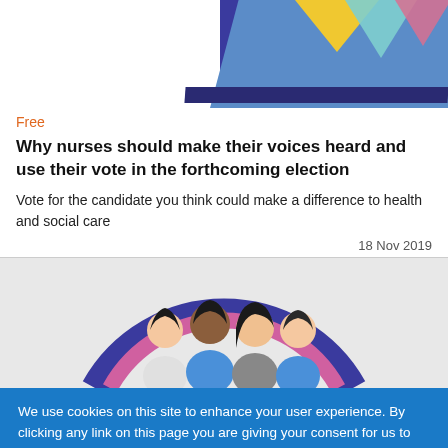[Figure (illustration): Decorative banner with dark blue/navy background, white area on left, blue parallelogram shape, coloured triangles (yellow, teal, pink) at top right, dark blue stripe at bottom.]
Free
Why nurses should make their voices heard and use their vote in the forthcoming election
Vote for the candidate you think could make a difference to health and social care
18 Nov 2019
[Figure (illustration): Illustration of four diverse people (nurses/healthcare workers) standing together inside a circular ring design in blue and pink/magenta colours, on a light grey background.]
We use cookies on this site to enhance your user experience. By clicking any link on this page you are giving your consent for us to set cookies.
NO, GIVE ME MORE INFO
OK, I AGREE